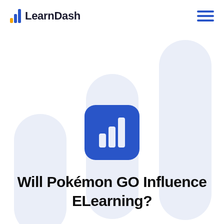LearnDash
[Figure (logo): LearnDash logo with bar chart icon and brand name, plus hamburger menu icon in top right]
[Figure (illustration): Three large decorative rounded bar chart shapes in light blue/lavender color in the background, with a blue square icon containing a white bar chart in the center]
Will Pokémon GO Influence ELearning?